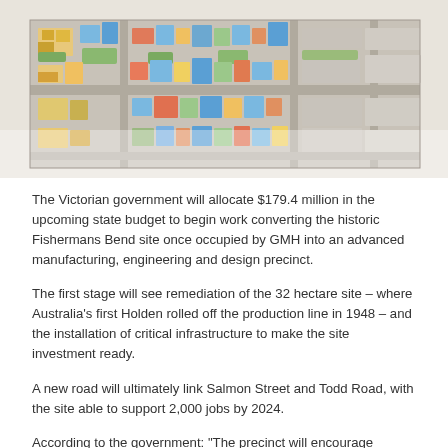[Figure (photo): Aerial view of the Fishermans Bend precinct site showing a master plan or rendered aerial map with coloured buildings, roads, green spaces, and surrounding urban context.]
The Victorian government will allocate $179.4 million in the upcoming state budget to begin work converting the historic Fishermans Bend site once occupied by GMH into an advanced manufacturing, engineering and design precinct.
The first stage will see remediation of the 32 hectare site – where Australia's first Holden rolled off the production line in 1948 – and the installation of critical infrastructure to make the site investment ready.
A new road will ultimately link Salmon Street and Todd Road, with the site able to support 2,000 jobs by 2024.
According to the government: "The precinct will encourage collaboration between industry and academia, with the University of Melbourne leading the way.